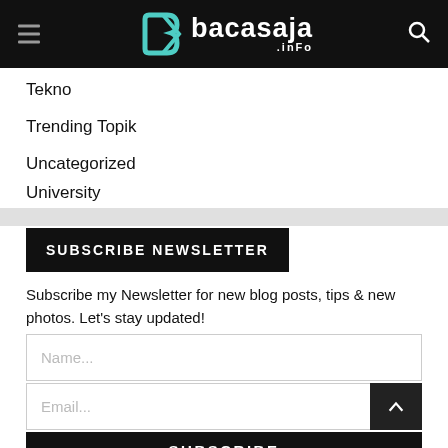bacasaja.info
Tekno
Trending Topik
Uncategorized
University
SUBSCRIBE NEWSLETTER
Subscribe my Newsletter for new blog posts, tips & new photos. Let's stay updated!
Name...
Email...
SUBSCRIBE